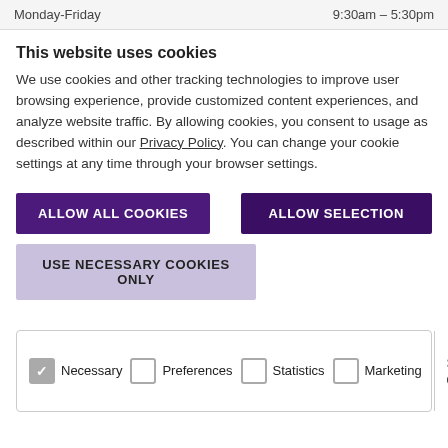Monday-Friday    9:30am – 5:30pm
This website uses cookies
We use cookies and other tracking technologies to improve user browsing experience, provide customized content experiences, and analyze website traffic. By allowing cookies, you consent to usage as described within our Privacy Policy. You can change your cookie settings at any time through your browser settings.
ALLOW ALL COOKIES | ALLOW SELECTION
USE NECESSARY COOKIES ONLY
| Necessary | Preferences | Show details |
| --- | --- | --- |
| Statistics | Marketing |  |